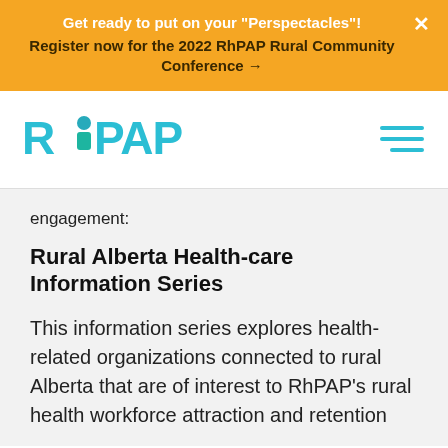Get ready to put on your "Perspectacles"! Register now for the 2022 RhPAP Rural Community Conference →
[Figure (logo): RhPAP logo in teal/cyan color with a small person icon replacing the letter 'a' in 'Ra']
engagement:
Rural Alberta Health-care Information Series
This information series explores health-related organizations connected to rural Alberta that are of interest to RhPAP's rural health workforce attraction and retention